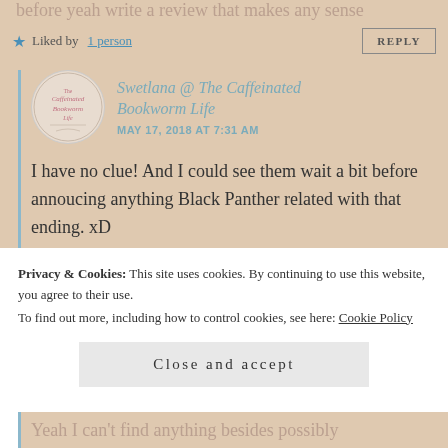before yeah write a review that makes any sense
Liked by 1 person
REPLY
[Figure (logo): The Caffeinated Bookworm Life circular logo]
Swetlana @ The Caffeinated Bookworm Life
MAY 17, 2018 AT 7:31 AM
I have no clue! And I could see them wait a bit before annoucing anything Black Panther related with that ending. xD
Liked by 1 person
REPLY
Privacy & Cookies: This site uses cookies. By continuing to use this website, you agree to their use.
To find out more, including how to control cookies, see here: Cookie Policy
Close and accept
Yeah I can't find anything besides possibly